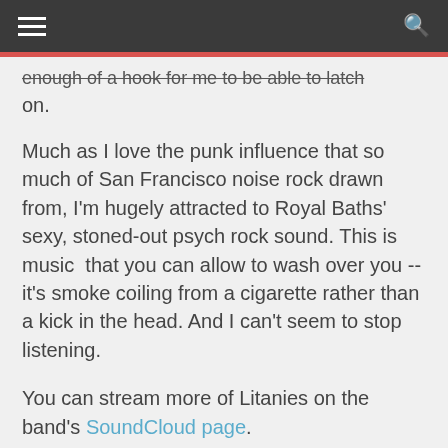[navigation bar with hamburger menu and search icon]
enough of a hook for me to be able to latch on.
Much as I love the punk influence that so much of San Francisco noise rock drawn from, I'm hugely attracted to Royal Baths' sexy, stoned-out psych rock sound. This is music  that you can allow to wash over you -- it's smoke coiling from a cigarette rather than a kick in the head. And I can't seem to stop listening.
You can stream more of Litanies on the band's SoundCloud page.
- Lauren Sloss